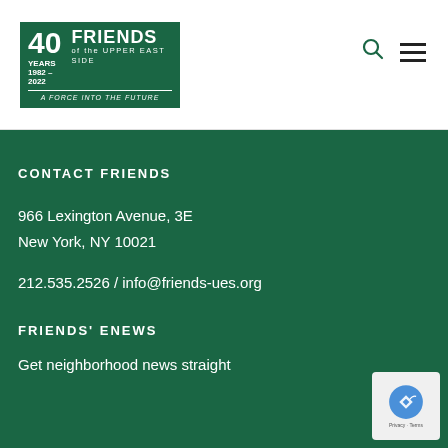[Figure (logo): Friends of the Upper East Side logo — 40 Years 1982-2022, A Force Into The Future]
Navigation icons: search and hamburger menu
CONTACT FRIENDS
966 Lexington Avenue, 3E
New York, NY 10021
212.535.2526 / info@friends-ues.org
FRIENDS' ENEWS
Get neighborhood news straight